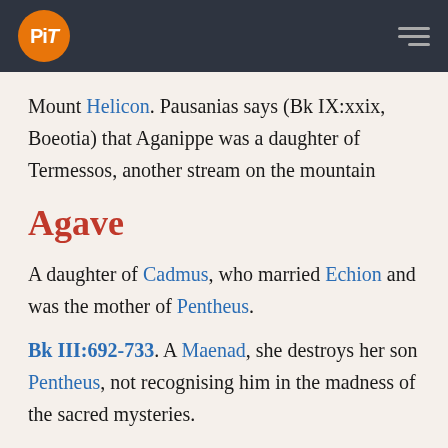PiT [logo] [hamburger menu]
Mount Helicon. Pausanias says (Bk IX:xxix, Boeotia) that Aganippe was a daughter of Termessos, another stream on the mountain
Agave
A daughter of Cadmus, who married Echion and was the mother of Pentheus.
Bk III:692-733. A Maenad, she destroys her son Pentheus, not recognising him in the madness of the sacred mysteries.